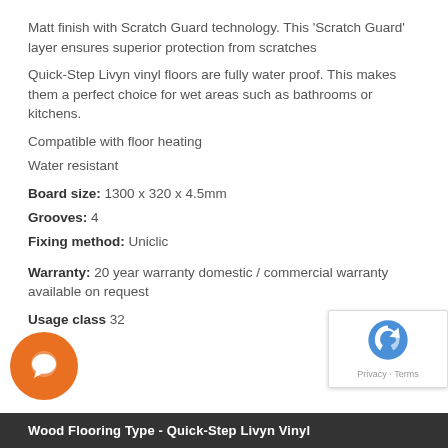Matt finish with Scratch Guard technology. This 'Scratch Guard' layer ensures superior protection from scratches
Quick-Step Livyn vinyl floors are fully water proof. This makes them a perfect choice for wet areas such as bathrooms or kitchens.
Compatible with floor heating
Water resistant
Board size: 1300 x 320 x 4.5mm
Grooves: 4
Fixing method: Uniclic
Warranty: 20 year warranty domestic / commercial warranty available on request
Usage class 32
Wood Flooring Type - Quick-Step Livyn Vinyl